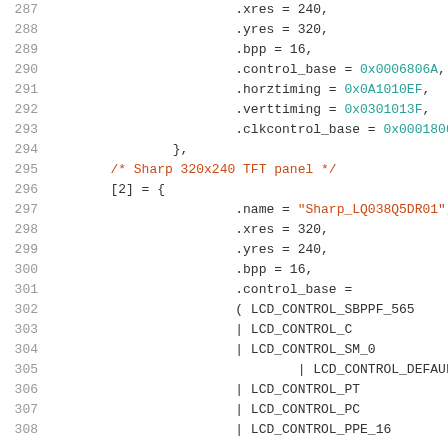Source code listing lines 287-307 showing LCD panel configuration struct initialization in C, including xres, yres, bpp, control_base, horztiming, verttiming, clkcontrol_base fields, and a Sharp 320x240 TFT panel entry with LCD_CONTROL constants.